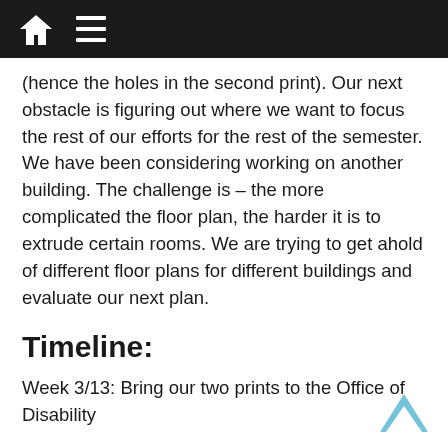Home | Menu
(hence the holes in the second print). Our next obstacle is figuring out where we want to focus the rest of our efforts for the rest of the semester. We have been considering working on another building. The challenge is – the more complicated the floor plan, the harder it is to extrude certain rooms. We are trying to get ahold of different floor plans for different buildings and evaluate our next plan.
Timeline:
Week 3/13: Bring our two prints to the Office of Disability
Week 3/12: Work on First Floor Carrier and label entrances and exits
Week 3/19: Have a final print of the all Carrier Floors and